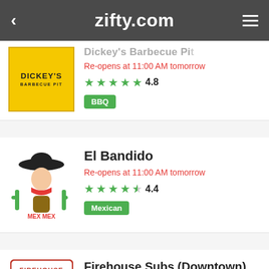zifty.com
Dickey's Barbecue Pit — Re-opens at 11:00 AM tomorrow — 4.8 — BBQ
El Bandido — Re-opens at 11:00 AM tomorrow — 4.4 — Mexican
Firehouse Subs (Downtown) — Re-opens at 11:00 AM tomorrow